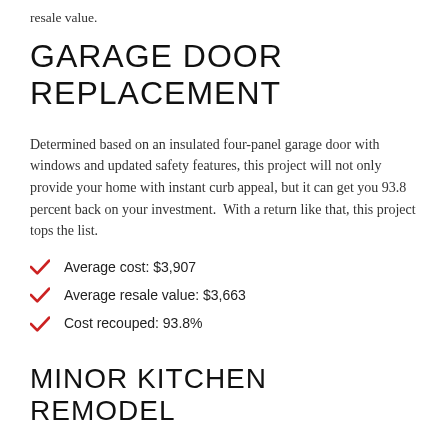resale value.
GARAGE DOOR REPLACEMENT
Determined based on an insulated four-panel garage door with windows and updated safety features, this project will not only provide your home with instant curb appeal, but it can get you 93.8 percent back on your investment.  With a return like that, this project tops the list.
Average cost: $3,907
Average resale value: $3,663
Cost recouped: 93.8%
MINOR KITCHEN REMODEL